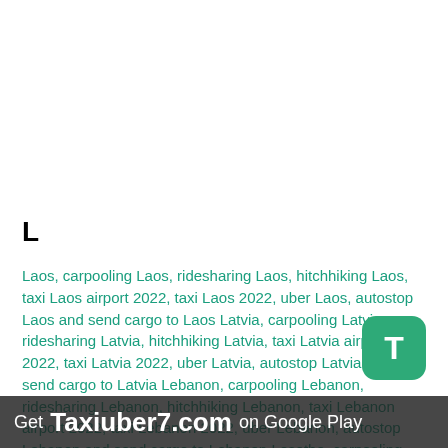L
Laos, carpooling Laos, ridesharing Laos, hitchhiking Laos, taxi Laos airport 2022, taxi Laos 2022, uber Laos, autostop Laos and send cargo to Laos Latvia, carpooling Latvia, ridesharing Latvia, hitchhiking Latvia, taxi Latvia airport 2022, taxi Latvia 2022, uber Latvia, autostop Latvia and send cargo to Latvia Lebanon, carpooling Lebanon, ridesharing Lebanon, hitchhiking Lebanon, taxi Lebanon airport 2022, taxi Lebanon 2022, uber Lebanon, autostop Lebanon and send cargo to Lebanon Lesotho, carpooling Lesotho, ridesharing Lesotho
[Figure (other): Green T button icon for Taxiuber7 app]
Get Taxiuber7.com on Google Play